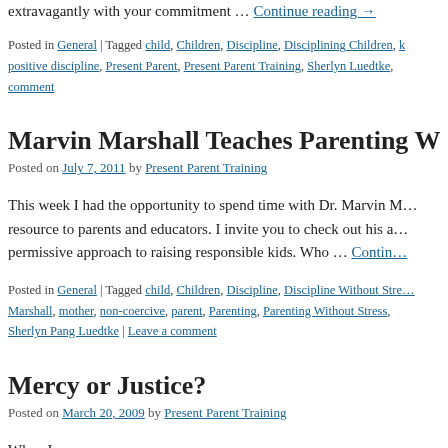extravagantly with your commitment … Continue reading →
Posted in General | Tagged child, Children, Discipline, Disciplining Children, positive discipline, Present Parent, Present Parent Training, Sherlyn Luedtke, Leave a comment
Marvin Marshall Teaches Parenting Witho…
Posted on July 7, 2011 by Present Parent Training
This week I had the opportunity to spend time with Dr. Marvin … resource to parents and educators. I invite you to check out his … permissive approach to raising responsible kids. Who … Continu…
Posted in General | Tagged child, Children, Discipline, Discipline Without Stre… Marshall, mother, non-coercive, parent, Parenting, Parenting Without Stress, Sherlyn Pang Luedtke | Leave a comment
Mercy or Justice?
Posted on March 20, 2009 by Present Parent Training
When I …